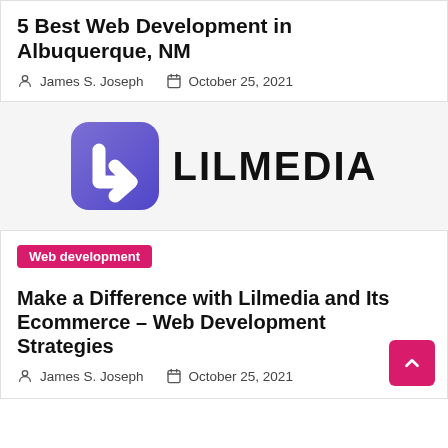5 Best Web Development in Albuquerque, NM
James S. Joseph   October 25, 2021
[Figure (logo): Lilmedia logo: purple rounded square icon with a white L-shaped arrow mark, and bold black text LILMEDIA to the right]
Web development
Make a Difference with Lilmedia and Its Ecommerce – Web Development Strategies
James S. Joseph   October 25, 2021